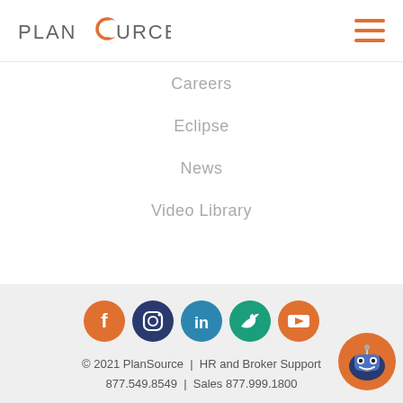[Figure (logo): PlanSource logo with orange crescent moon shape replacing the O in SOURCE]
[Figure (other): Hamburger menu icon with three orange horizontal lines]
Careers
Eclipse
News
Video Library
[Figure (other): Social media icons row: Facebook (orange), Instagram (dark blue), LinkedIn (teal/blue), Twitter (green), YouTube (orange)]
© 2021 PlanSource  |  HR and Broker Support 877.549.8549  |  Sales 877.999.1800